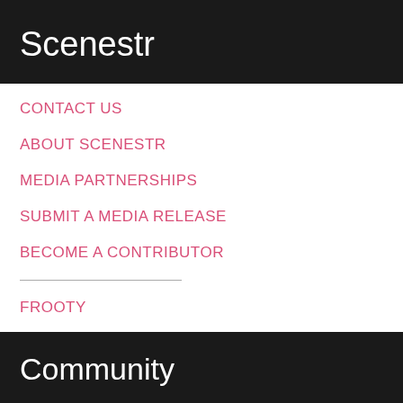Scenestr
CONTACT US
ABOUT SCENESTR
MEDIA PARTNERSHIPS
SUBMIT A MEDIA RELEASE
BECOME A CONTRIBUTOR
FROOTY
Community